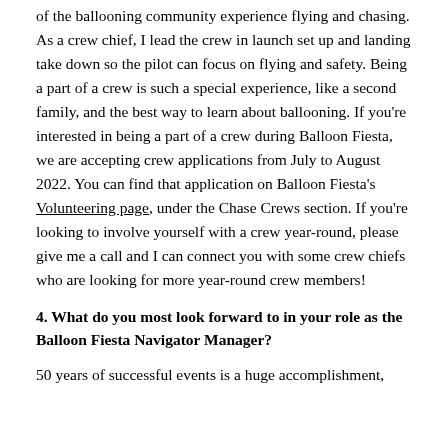of the ballooning community experience flying and chasing. As a crew chief, I lead the crew in launch set up and landing take down so the pilot can focus on flying and safety. Being a part of a crew is such a special experience, like a second family, and the best way to learn about ballooning. If you're interested in being a part of a crew during Balloon Fiesta, we are accepting crew applications from July to August 2022. You can find that application on Balloon Fiesta's Volunteering page, under the Chase Crews section. If you're looking to involve yourself with a crew year-round, please give me a call and I can connect you with some crew chiefs who are looking for more year-round crew members!
4. What do you most look forward to in your role as the Balloon Fiesta Navigator Manager?
50 years of successful events is a huge accomplishment,